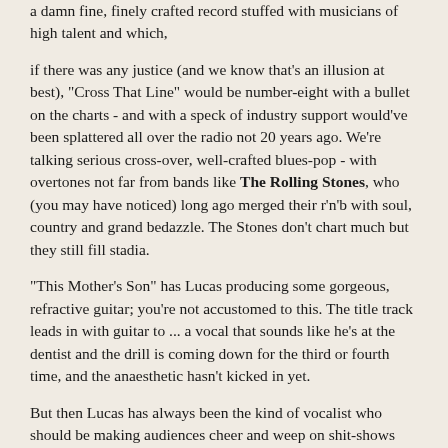a damn fine, finely crafted record stuffed with musicians of high talent and which,
if there was any justice (and we know that's an illusion at best), "Cross That Line" would be number-eight with a bullet on the charts - and with a speck of industry support would've been splattered all over the radio not 20 years ago. We're talking serious cross-over, well-crafted blues-pop - with overtones not far from bands like The Rolling Stones, who (you may have noticed) long ago merged their r'n'b with soul, country and grand bedazzle. The Stones don't chart much but they still fill stadia.
"This Mother's Son" has Lucas producing some gorgeous, refractive guitar; you're not accustomed to this. The title track leads in with guitar to ... a vocal that sounds like he's at the dentist and the drill is coming down for the third or fourth time, and the anaesthetic hasn't kicked in yet.
But then Lucas has always been the kind of vocalist who should be making audiences cheer and weep on shit-shows like "The Voice", FFS, not those nicey-nicey-nice-nice plastic and crimlene monotremes. "Dare to be Different" is a total about-face, with Lucas unzipping his innermost ... with vast, gut-bucket-tearing shouts.